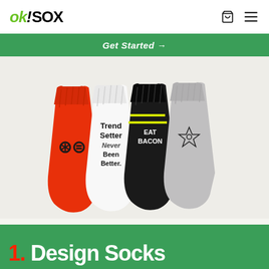ok!SOX
Get Started →
[Figure (photo): Four crew socks displayed side by side: red sock with black logo, white sock with 'Trend Setter Never Been Better.' text, black sock with 'EAT BACON' text, and grey sock with eye/star icon]
1. Design Socks